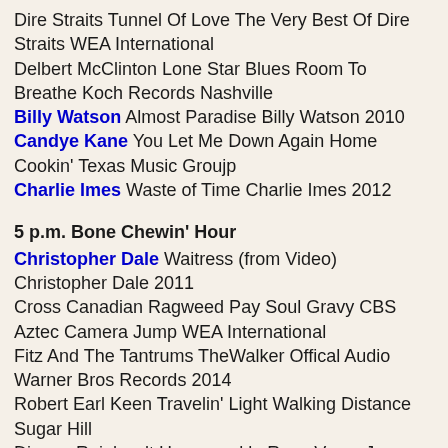Dire Straits Tunnel Of Love The Very Best Of Dire Straits WEA International
Delbert McClinton Lone Star Blues Room To Breathe Koch Records Nashville
Billy Watson Almost Paradise Billy Watson 2010
Candye Kane You Let Me Down Again Home Cookin' Texas Music Groujp
Charlie Imes Waste of Time Charlie Imes 2012
5 p.m. Bone Chewin' Hour
Christopher Dale Waitress (from Video) Christopher Dale 2011
Cross Canadian Ragweed Pay Soul Gravy CBS
Aztec Camera Jump WEA International
Fitz And The Tantrums TheWalker Offical Audio Warner Bros Records 2014
Robert Earl Keen Travelin' Light Walking Distance Sugar Hill
Django Reinhardt Honeysuckle Rose Verve Jazz Masters 38 Blue Note
Tristan Prettyman Simple As It Should Be Twentythree Virgin Records
T-Bone Burnett Drivin' Wheel Twenty Twenty The Essential